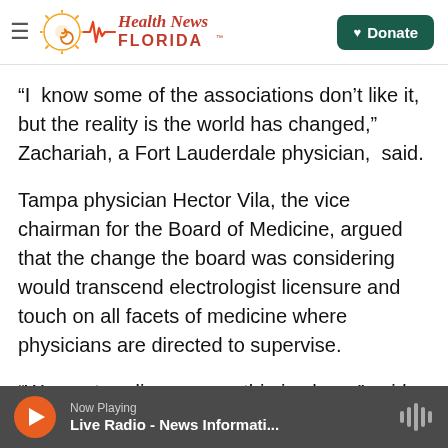Health News Florida — Donate
“I  know some of the associations don’t like it, but the reality is the world has changed,” Zachariah, a Fort Lauderdale physician,  said.
Tampa physician Hector Vila, the vice chairman for the Board of Medicine, argued that the change the board was considering would transcend electrologist licensure and touch on all facets of medicine where physicians are directed to supervise.
“We are treading on very thin ice here,” said Vila, who is an anesthesiologist. “Whatever you do here
Now Playing — Live Radio - News Informati...